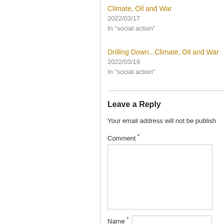Climate, Oil and War
2022/03/17
In "social action"
Drilling Down...Climate, Oil and War
2022/03/19
In "social action"
Leave a Reply
Your email address will not be published.
Comment *
Name *